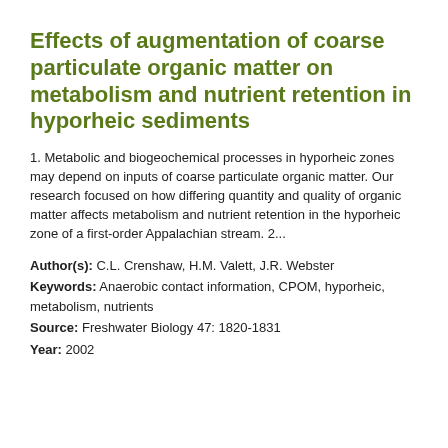Effects of augmentation of coarse particulate organic matter on metabolism and nutrient retention in hyporheic sediments
1. Metabolic and biogeochemical processes in hyporheic zones may depend on inputs of coarse particulate organic matter. Our research focused on how differing quantity and quality of organic matter affects metabolism and nutrient retention in the hyporheic zone of a first-order Appalachian stream. 2...
Author(s): C.L. Crenshaw, H.M. Valett, J.R. Webster
Keywords: Anaerobic contact information, CPOM, hyporheic, metabolism, nutrients
Source: Freshwater Biology 47: 1820-1831
Year: 2002